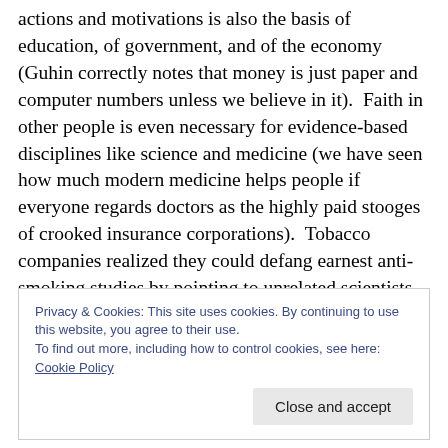actions and motivations is also the basis of education, of government, and of the economy (Guhin correctly notes that money is just paper and computer numbers unless we believe in it).  Faith in other people is even necessary for evidence-based disciplines like science and medicine (we have seen how much modern medicine helps people if everyone regards doctors as the highly paid stooges of crooked insurance corporations).  Tobacco companies realized they could defang earnest anti-smoking studies by pointing to unrelated scientists whose research was funded by corporations and then just saying “everyone is
Privacy & Cookies: This site uses cookies. By continuing to use this website, you agree to their use.
To find out more, including how to control cookies, see here: Cookie Policy